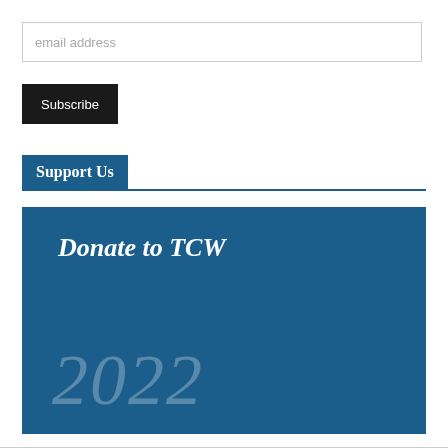email address
Subscribe
Support Us
[Figure (illustration): Blue banner with white bold italic text 'Donate to TCW' and large faint cursive '2022' watermark in background]